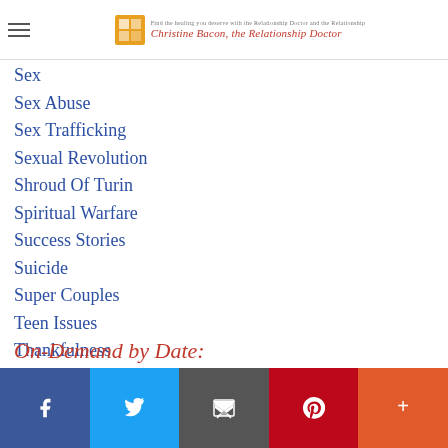Christine Bacon, the Relationship Doctor
Sex
Sex Abuse
Sex Trafficking
Sexual Revolution
Shroud Of Turin
Spiritual Warfare
Success Stories
Suicide
Super Couples
Teen Issues
Thankfulness
Theophostic
Virtues
Women's Empowerment
On-Demand by Date: